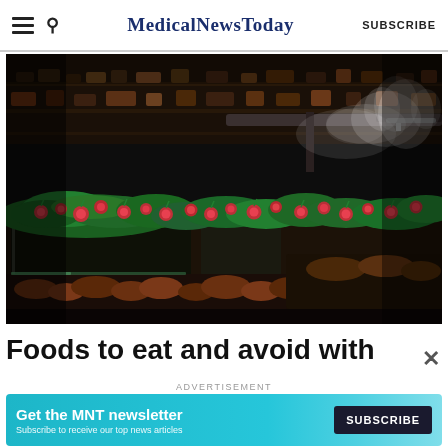MedicalNewsToday | SUBSCRIBE
[Figure (photo): A grocery store produce display with fresh radishes and greens under misting sprayers, dark moody lighting with steam/mist visible]
Foods to eat and avoid with
ADVERTISEMENT
Get the MNT newsletter
Subscribe to receive our top news articles
SUBSCRIBE